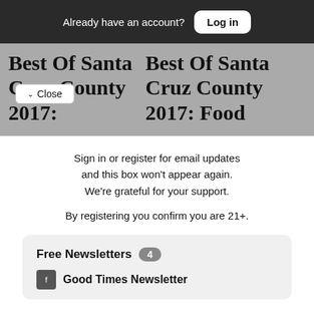Already have an account? Log in
Best Of Santa Cruz County 2017:
Best Of Santa Cruz County 2017: Food
Sign in or register for email updates and this box won’t appear again. We’re grateful for your support.
By registering you confirm you are 21+.
Free Newsletters 4
Good Times Newsletter